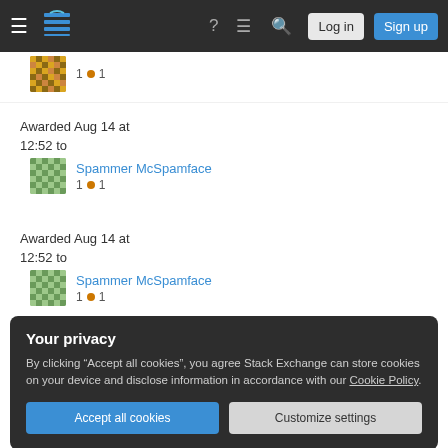Stack Exchange navigation bar with Log in and Sign up buttons
[Figure (screenshot): Partially visible user avatar (yellow/orange pixelated) with reputation score 1 bronze dot 1]
Awarded Aug 14 at 12:52 to
Spammer McSpamface
1 • 1
Awarded Aug 14 at 12:52 to
Spammer McSpamface
1 • 1
Your privacy
By clicking "Accept all cookies", you agree Stack Exchange can store cookies on your device and disclose information in accordance with our Cookie Policy.
Accept all cookies   Customize settings
[Figure (screenshot): Partially visible user avatar (green pixelated) and partial text Spammer McSpamface at bottom]